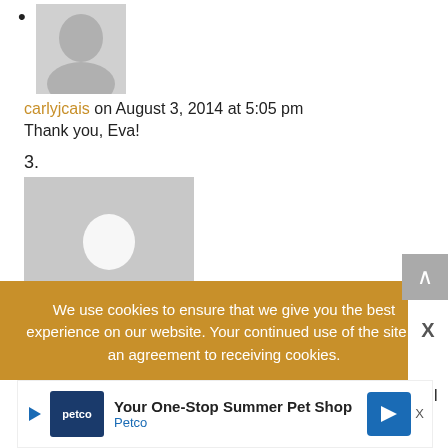[avatar image of carlyjcais]
carlyjcais on August 3, 2014 at 5:05 pm
Thank you, Eva!
3.
[Figure (photo): Default grey avatar placeholder with silhouette of a person]
Quantum on August 4, 2014 at 6:21 am
As a girl who absolutely loooooooves astrophysics (and all other types of physics), I'm so happy to see your prints! I think anything with a galaxy on it is good
We use cookies to ensure that we give you the best experience on our website. Your continued use of the site is an agreement to receiving cookies.
[Figure (screenshot): Petco advertisement: Your One-Stop Summer Pet Shop]